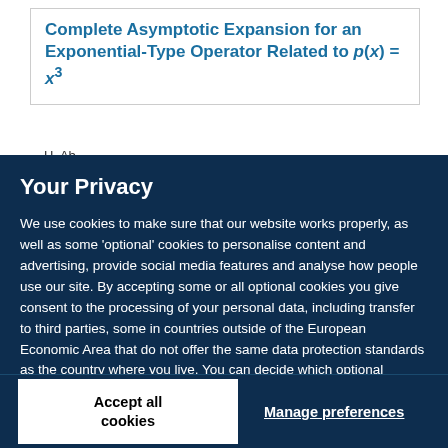Complete Asymptotic Expansion for an Exponential-Type Operator Related to p(x) = x³
H. Ab...
Your Privacy
We use cookies to make sure that our website works properly, as well as some 'optional' cookies to personalise content and advertising, provide social media features and analyse how people use our site. By accepting some or all optional cookies you give consent to the processing of your personal data, including transfer to third parties, some in countries outside of the European Economic Area that do not offer the same data protection standards as the country where you live. You can decide which optional cookies to accept by clicking on 'Manage Settings', where you can also find more information about how your personal data is processed. Further information can be found in our privacy policy.
Accept all cookies
Manage preferences